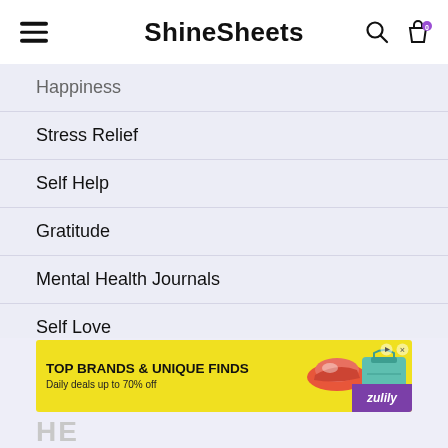ShineSheets
Happiness
Stress Relief
Self Help
Gratitude
Mental Health Journals
Self Love
Mindfulness
Meditation
All Mental Health Topics
[Figure (screenshot): Advertisement banner: TOP BRANDS & UNIQUE FINDS, Daily deals up to 70% off, Zulily brand. Yellow background with product images of shoes and bag.]